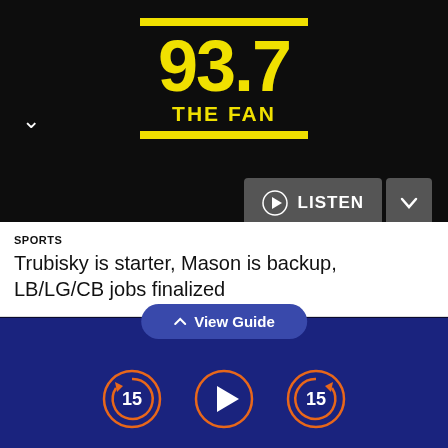[Figure (logo): 93.7 The Fan radio station logo in yellow on black background with yellow horizontal bars above and below]
[Figure (screenshot): Listen button with play icon and dropdown chevron in gray on dark background]
SPORTS
Trubisky is starter, Mason is backup, LB/LG/CB jobs finalized
thoughtfully consider and enact legislation that protects the interests of all the people in this country and to move this country forward towards the vision of the 'shining city on the hill.' But instead, we thoughtlessly link our moment of silence and grief with the equally thoughtless
[Figure (screenshot): View Guide button and audio playback controls including skip back 15, play, and skip forward 15 buttons on dark blue background]